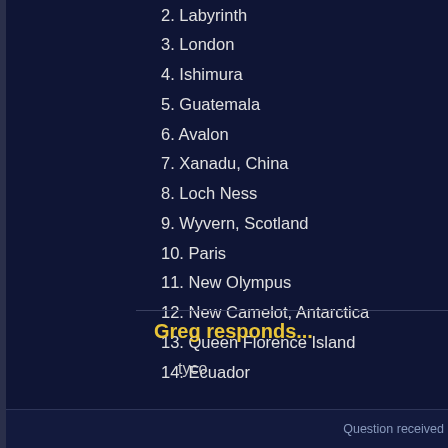2. Labyrinth
3. London
4. Ishimura
5. Guatemala
6. Avalon
7. Xanadu, China
8. Loch Ness
9. Wyvern, Scotland
10. Paris
11. New Olympus
12. New Camelot, Antarctica
13. Queen Florence Island
14. Ecuador
Greg responds...
tyco
Question received